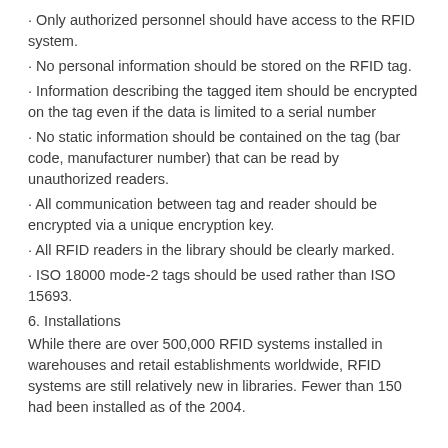· Only authorized personnel should have access to the RFID system.
· No personal information should be stored on the RFID tag.
· Information describing the tagged item should be encrypted on the tag even if the data is limited to a serial number
· No static information should be contained on the tag (bar code, manufacturer number) that can be read by unauthorized readers.
· All communication between tag and reader should be encrypted via a unique encryption key.
· All RFID readers in the library should be clearly marked.
· ISO 18000 mode-2 tags should be used rather than ISO 15693.
6. Installations
While there are over 500,000 RFID systems installed in warehouses and retail establishments worldwide, RFID systems are still relatively new in libraries. Fewer than 150 had been installed as of the 2004.